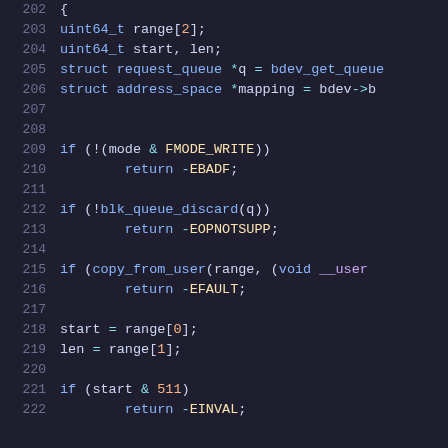Code snippet lines 202-222, C source code showing block device discard ioctl handler. Lines include variable declarations (uint64_t range[2], start, len; struct request_queue *q, struct address_space *mapping), conditional checks for FMODE_WRITE, blk_queue_discard, copy_from_user, range assignments, and check for start & 511.